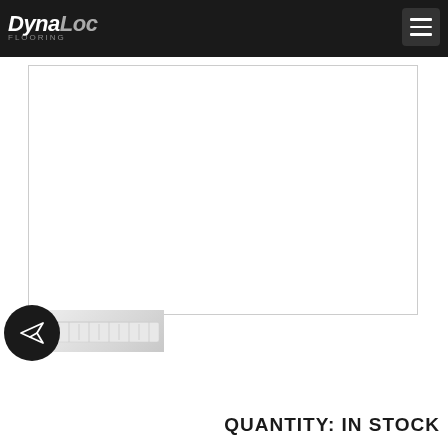DynaLoc Flooring
[Figure (photo): Main product image area (white/blank product display box)]
[Figure (photo): Thumbnail image of a measuring tape/ruler product, partially visible, with a dark circular share/send button overlay on the left]
QUANTITY: IN STOCK